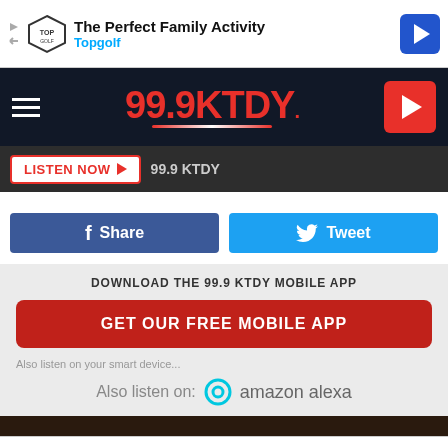[Figure (screenshot): Topgolf advertisement banner at top: 'The Perfect Family Activity' with Topgolf logo and navigation arrow icon]
[Figure (logo): 99.9 KTDY radio station navigation bar with hamburger menu, station logo in red, and red play button]
LISTEN NOW  99.9 KTDY
Share  Tweet
DOWNLOAD THE 99.9 KTDY MOBILE APP
GET OUR FREE MOBILE APP
Also listen on:  amazon alexa
[Figure (screenshot): Topgolf advertisement banner at bottom: 'The Perfect Family Activity' with Topgolf logo and navigation arrow icon]